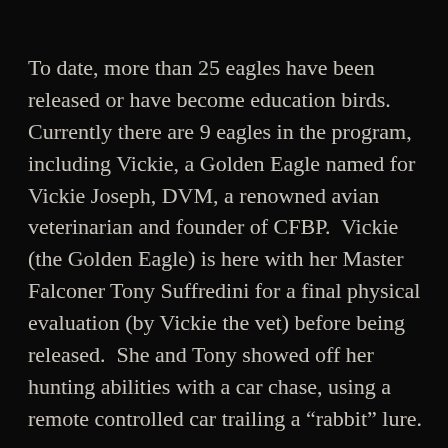To date, more than 25 eagles have been released or have become education birds.  Currently there are 9 eagles in the program, including Vickie, a Golden Eagle named for Vickie Joseph, DVM, a renowned avian veterinarian and founder of CFBP.  Vickie (the Golden Eagle) is here with her Master Falconer Tony Suffredini for a final physical evaluation (by Vickie the vet) before being released.  She and Tony showed off her hunting abilities with a car chase, using a remote controlled car trailing a “rabbit” lure.
Last year was Vickie’s first free flight in rehabilitation and she performed perfectly.  Because of the layout of